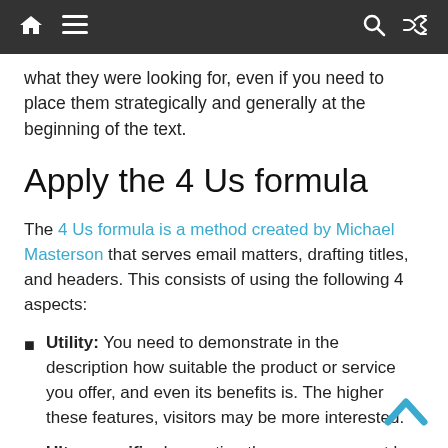Navigation bar with home, menu, search, and shuffle icons
what they were looking for, even if you need to place them strategically and generally at the beginning of the text.
Apply the 4 Us formula
The 4 Us formula is a method created by Michael Masterson that serves email matters, drafting titles, and headers. This consists of using the following 4 aspects:
Utility: You need to demonstrate in the description how suitable the product or service you offer, and even its benefits is. The higher these features, visitors may be more interested.
Ultra specific: In creating the copy, you must be direct and concise, describing what you offer without blunting or empty words. Of course, this should be accompanied by methods that